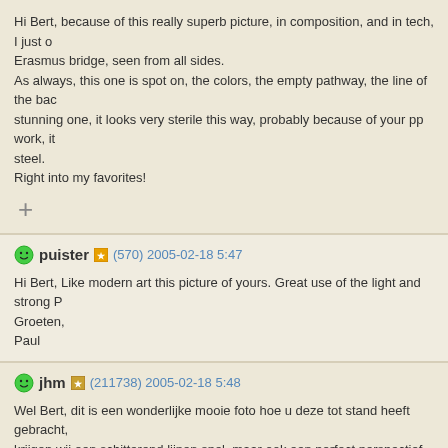Hi Bert, because of this really superb picture, in composition, and in tech, I just ordered a book about the Erasmus bridge, seen from all sides.
As always, this one is spot on, the colors, the empty pathway, the line of the back of the bridge is a stunning one, it looks very sterile this way, probably because of your pp work, it really looks like brushed steel.
Right into my favorites!
+
puister (570) 2005-02-18 5:47
Hi Bert, Like modern art this picture of yours. Great use of the light and strong P.
Groeten,
Paul
jhm (211738) 2005-02-18 5:48
Wel Bert, dit is een wonderlijke mooie foto hoe u deze tot stand heeft gebracht, krijgen wij een schitterend lijnen spel, maar ook een perfect perspectief, het frame verzorgd tot in de puntjes, waarvoor mijn compliment Bert!
Groeten uit Vlaanderen,
John.
antti (0) 2005-02-18 6:48